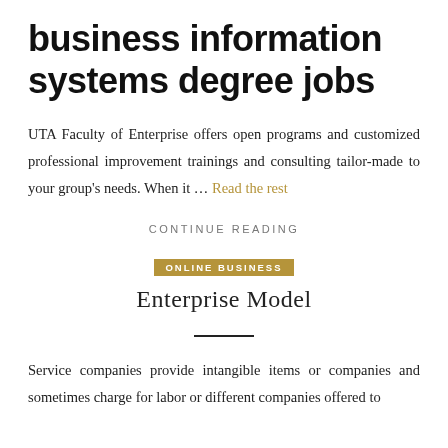business information systems degree jobs
UTA Faculty of Enterprise offers open programs and customized professional improvement trainings and consulting tailor-made to your group's needs. When it … Read the rest
CONTINUE READING
ONLINE BUSINESS
Enterprise Model
Service companies provide intangible items or companies and sometimes charge for labor or different companies offered to